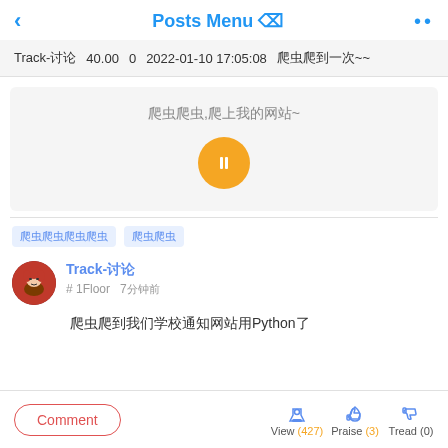< Posts Menu ⊙ ••
Track-讨论  40.00  0  2022-01-10 17:05:08  爬虫爬到一次~~
[Figure (screenshot): Gray card with Chinese text and a yellow circular play button]
爬虫爬虫,爬上我的网站~
爬虫爬虫爬虫爬虫  爬虫爬虫
Track-讨论
# 1Floor  7分钟 前
爬虫爬到我们学校通知网站用Python了
Comment  View (427)  Praise (3)  Tread (0)